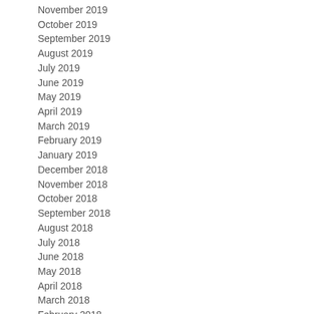November 2019
October 2019
September 2019
August 2019
July 2019
June 2019
May 2019
April 2019
March 2019
February 2019
January 2019
December 2018
November 2018
October 2018
September 2018
August 2018
July 2018
June 2018
May 2018
April 2018
March 2018
February 2018
January 2018
December 2017
November 2017
October 2017
September 2017
August 2017
July 2017